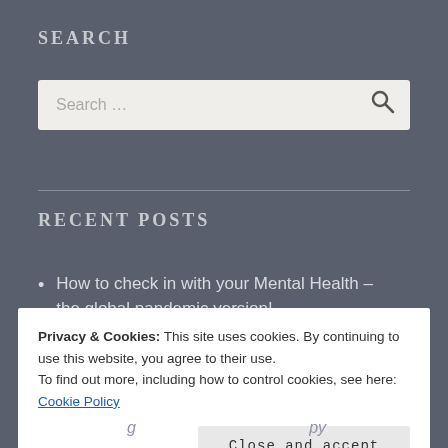SEARCH
[Figure (screenshot): Search input box with placeholder text 'Search ...' and a magnifying glass icon on the right]
RECENT POSTS
How to check in with your Mental Health – the global pandemic version!
Privacy & Cookies: This site uses cookies. By continuing to use this website, you agree to their use.
To find out more, including how to control cookies, see here: Cookie Policy
Close and accept